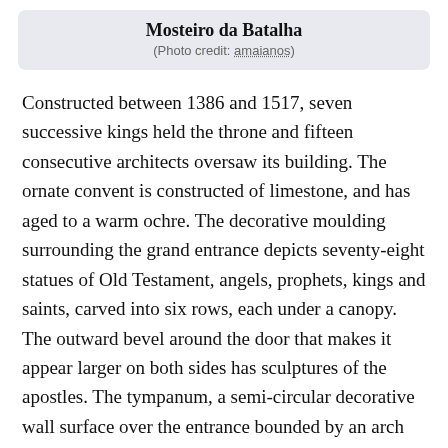Mosteiro da Batalha
(Photo credit: amaianos)
Constructed between 1386 and 1517, seven successive kings held the throne and fifteen consecutive architects oversaw its building. The ornate convent is constructed of limestone, and has aged to a warm ochre. The decorative moulding surrounding the grand entrance depicts seventy-eight statues of Old Testament, angels, prophets, kings and saints, carved into six rows, each under a canopy. The outward bevel around the door that makes it appear larger on both sides has sculptures of the apostles. The tympanum, a semi-circular decorative wall surface over the entrance bounded by an arch and lintel, shows Christ enthroned under a baldachin with